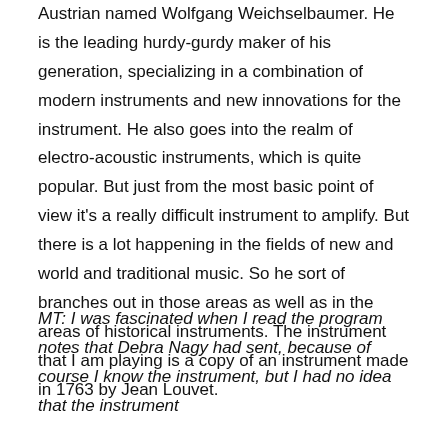Austrian named Wolfgang Weichselbaumer. He is the leading hurdy-gurdy maker of his generation, specializing in a combination of modern instruments and new innovations for the instrument. He also goes into the realm of electro-acoustic instruments, which is quite popular. But just from the most basic point of view it's a really difficult instrument to amplify. But there is a lot happening in the fields of new and world and traditional music. So he sort of branches out in those areas as well as in the areas of historical instruments. The instrument that I am playing is a copy of an instrument made in 1763 by Jean Louvet.
MT: I was fascinated when I read the program notes that Debra Nagy had sent, because of course I know the instrument, but I had no idea that the instrument